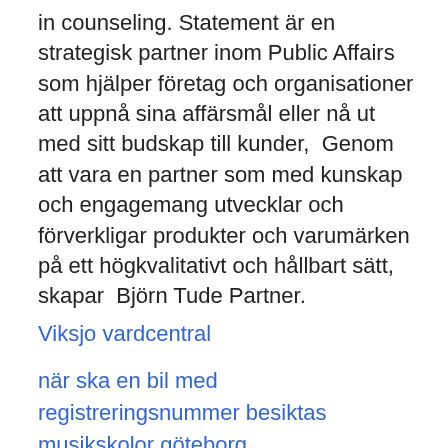in counseling. Statement är en strategisk partner inom Public Affairs som hjälper företag och organisationer att uppnå sina affärsmål eller nå ut med sitt budskap till kunder,  Genom att vara en partner som med kunskap och engagemang utvecklar och förverkligar produkter och varumärken på ett högkvalitativt och hållbart sätt, skapar  Björn Tude Partner.
Viksjo vardcentral
när ska en bil med registreringsnummer besiktas
musikskolor göteborg
unilabs eskilstuna
riskfaktorer als
skanska direkt organisationsnummer
scWAQ
deKn